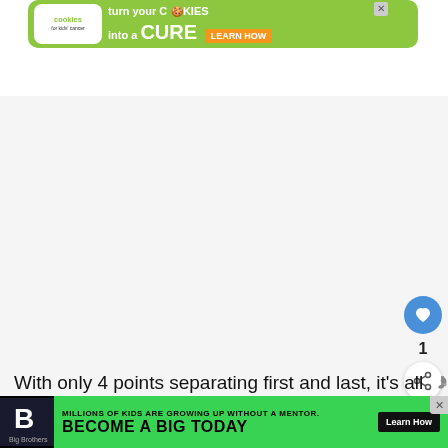[Figure (screenshot): Green advertisement banner: 'cookies for kids cancer - turn your COOKIES into a CURE LEARN HOW']
[Figure (screenshot): White/grey blank content area with blue heart like button, number 1, and share button on right side, plus 'WHAT'S NEXT' card with Dancing with the Stars thumbnail]
With only 4 points separating first and last, it's all
[Figure (screenshot): Black bottom advertisement banner: Big Brothers Big Sisters - MILLIONS OF KIDS ARE GROWING UP WITHOUT A MENTOR. BECOME A BIG TODAY. Learn How.]